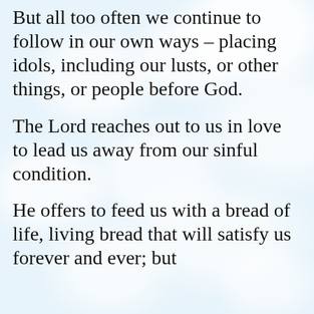But all too often we continue to follow in our own ways – placing idols, including our lusts, or other things, or people before God.
The Lord reaches out to us in love to lead us away from our sinful condition.
He offers to feed us with a bread of life, living bread that will satisfy us forever and ever; but